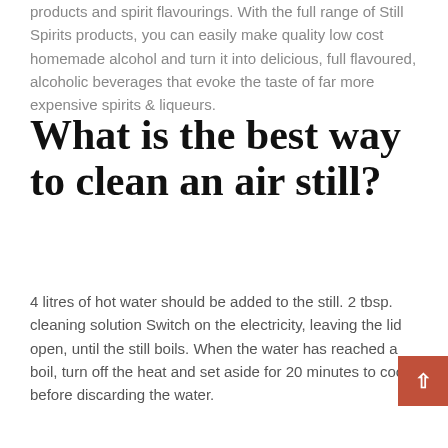products and spirit flavourings. With the full range of Still Spirits products, you can easily make quality low cost homemade alcohol and turn it into delicious, full flavoured, alcoholic beverages that evoke the taste of far more expensive spirits & liqueurs.
What is the best way to clean an air still?
4 litres of hot water should be added to the still. 2 tbsp. cleaning solution Switch on the electricity, leaving the lid open, until the still boils. When the water has reached a boil, turn off the heat and set aside for 20 minutes to cool before discarding the water.